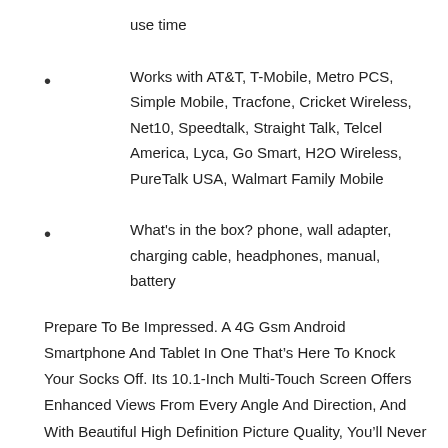use time
Works with AT&T, T-Mobile, Metro PCS, Simple Mobile, Tracfone, Cricket Wireless, Net10, Speedtalk, Straight Talk, Telcel America, Lyca, Go Smart, H2O Wireless, PureTalk USA, Walmart Family Mobile
What's in the box? phone, wall adapter, charging cable, headphones, manual, battery
Prepare To Be Impressed. A 4G Gsm Android Smartphone And Tablet In One That’s Here To Knock Your Socks Off. Its 10.1-Inch Multi-Touch Screen Offers Enhanced Views From Every Angle And Direction, And With Beautiful High Definition Picture Quality, You’ll Never Experience A Dull Moment. Thanks To Its Super-Fast Speeds And 1.3 Ghz Quad-Core Mediatek Processor, Watching